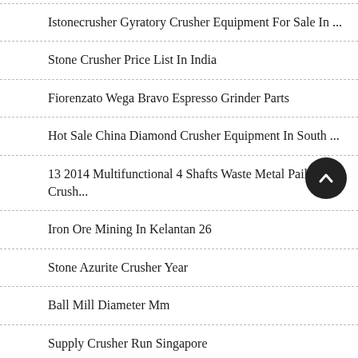Istonecrusher Gyratory Crusher Equipment For Sale In ...
Stone Crusher Price List In India
Fiorenzato Wega Bravo Espresso Grinder Parts
Hot Sale China Diamond Crusher Equipment In South ...
13 2014 Multifunctional 4 Shafts Waste Metal Pail Crush...
Iron Ore Mining In Kelantan 26
Stone Azurite Crusher Year
Ball Mill Diameter Mm
Supply Crusher Run Singapore